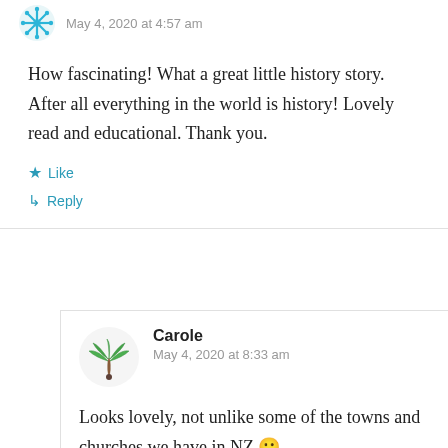May 4, 2020 at 4:57 am
How fascinating! What a great little history story. After all everything in the world is history! Lovely read and educational. Thank you.
Like
Reply
Carole
May 4, 2020 at 8:33 am
Looks lovely, not unlike some of the towns and churches we have in NZ 🙂
Like